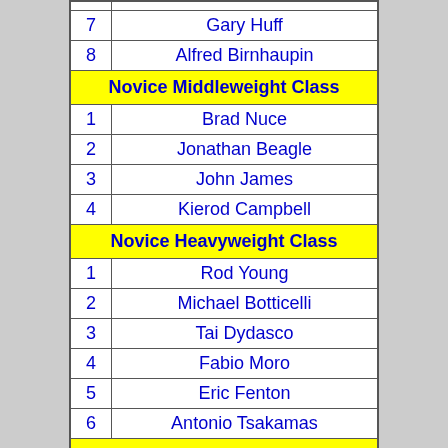| # | Name |
| --- | --- |
| 7 | Gary Huff |
| 8 | Alfred Birnhaupin |
| Novice Middleweight Class |  |
| 1 | Brad Nuce |
| 2 | Jonathan Beagle |
| 3 | John James |
| 4 | Kierod Campbell |
| Novice Heavyweight Class |  |
| 1 | Rod Young |
| 2 | Michael Botticelli |
| 3 | Tai Dydasco |
| 4 | Fabio Moro |
| 5 | Eric Fenton |
| 6 | Antonio Tsakamas |
| Masters Class |  |
| 1 | Glen Morris |